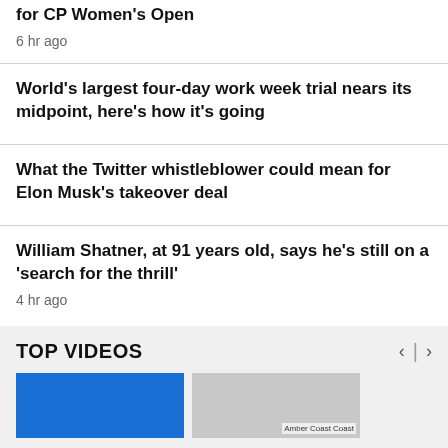for CP Women's Open
6 hr ago
World's largest four-day work week trial nears its midpoint, here's how it's going
What the Twitter whistleblower could mean for Elon Musk's takeover deal
William Shatner, at 91 years old, says he's still on a 'search for the thrill'
4 hr ago
TOP VIDEOS
[Figure (photo): Video thumbnail showing a person against blue background]
[Figure (photo): Video thumbnail showing a gray image with label]